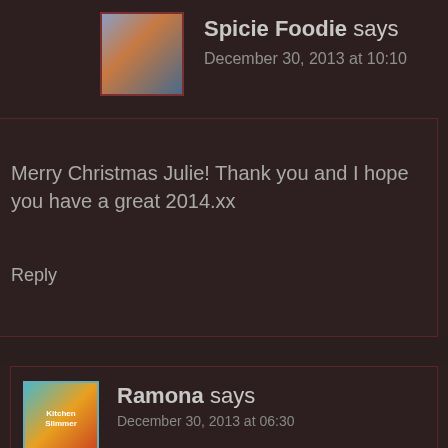Spicie Foodie says
December 30, 2013 at 10:10
Merry Christmas Julie! Thank you and I hope you have a great 2014.xx
Reply
Ramona says
December 30, 2013 at 06:30